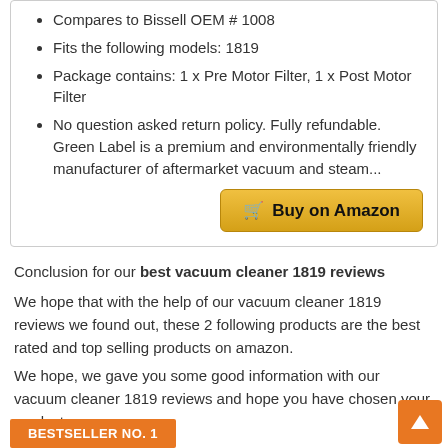Compares to Bissell OEM # 1008
Fits the following models: 1819
Package contains: 1 x Pre Motor Filter, 1 x Post Motor Filter
No question asked return policy. Fully refundable. Green Label is a premium and environmentally friendly manufacturer of aftermarket vacuum and steam...
Conclusion for our best vacuum cleaner 1819 reviews
We hope that with the help of our vacuum cleaner 1819 reviews we found out, these 2 following products are the best rated and top selling products on amazon.
We hope, we gave you some good information with our vacuum cleaner 1819 reviews and hope you have chosen your product.
BESTSELLER NO. 1